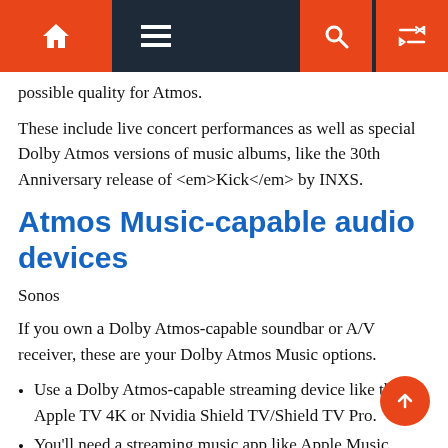Navigation bar with home, menu, search, and shuffle icons
possible quality for Atmos.
These include live concert performances as well as special Dolby Atmos versions of music albums, like the 30th Anniversary release of <em>Kick</em> by INXS.
Atmos Music-capable audio devices
Sonos
If you own a Dolby Atmos-capable soundbar or A/V receiver, these are your Dolby Atmos Music options.
Use a Dolby Atmos-capable streaming device like the Apple TV 4K or Nvidia Shield TV/Shield TV Pro.
You'll need a streaming music app like Apple Music